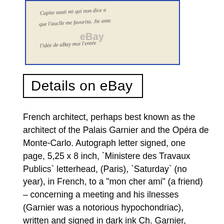[Figure (photo): A scanned handwritten letter in cursive French script, shown within a blue-bordered frame. The text is partially obscured by an eBay watermark.]
Details on eBay
French architect, perhaps best known as the architect of the Palais Garnier and the Opéra de Monte-Carlo. Autograph letter signed, one page, 5,25 x 8 inch, `Ministere des Travaux Publics` letterhead, (Paris), `Saturday` (no year), in French, to a “mon cher ami” (a friend) – concerning a meeting and his ilnesses (Garnier was a notorious hypochondriac), written and signed in dark ink Ch. Garnier, attractively mounted (removable) for display with a photograph, shows Garnier in a half length portrait (altogether 11,75 x 8,25 inch), with a central horizontal letter fold and with scattered mild signs of wear to the edges – in fine to very fine condition. I request I’m at your original limitations